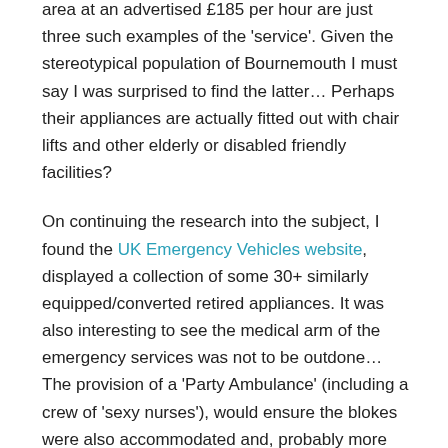area at an advertised £185 per hour are just three such examples of the ‘service’. Given the stereotypical population of Bournemouth I must say I was surprised to find the latter… Perhaps their appliances are actually fitted out with chair lifts and other elderly or disabled friendly facilities?
On continuing the research into the subject, I found the UK Emergency Vehicles website, displayed a collection of some 30+ similarly equipped/converted retired appliances. It was also interesting to see the medical arm of the emergency services was not to be outdone… The provision of a ‘Party Ambulance’ (including a crew of ‘sexy nurses’), would ensure the blokes were also accommodated and, probably more importantly, another element of ‘the nice little earner’ was covered. (Having said that, the